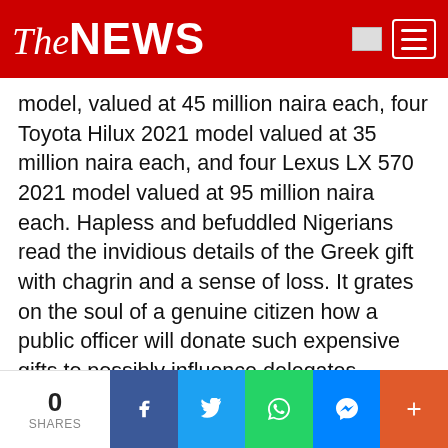TheNEWS
model, valued at 45 million naira each, four Toyota Hilux 2021 model valued at 35 million naira each, and four Lexus LX 570 2021 model valued at 95 million naira each. Hapless and befuddled Nigerians read the invidious details of the Greek gift with chagrin and a sense of loss. It grates on the soul of a genuine citizen how a public officer will donate such expensive gifts to possibly influence delegates towards the APC governorship primaries in Kebbi State. If EFCC was alive to its responsibilities, Abubakar Malami would have been answering questions now explaining how and where he got so much money to indulge in that kind of reckless ostentation and vulgar display of wealth. But EFCC has looked away and Abubakar Malami is a free man, perhaps planning to donate
0 SHARES